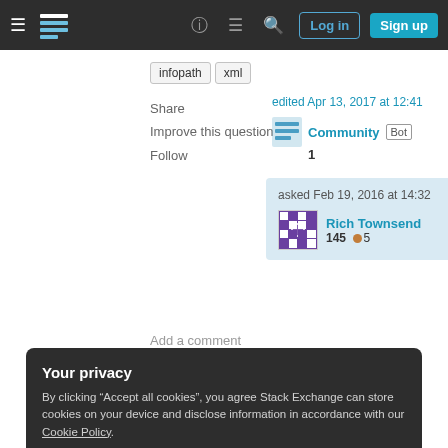Stack Exchange navigation: hamburger menu, logo, help, chat, search, Log in, Sign up
infopath
xml
Share
Improve this question
Follow
edited Apr 13, 2017 at 12:41
Community Bot 1
asked Feb 19, 2016 at 14:32
Rich Townsend 145 5
Add a comment
Your privacy
By clicking "Accept all cookies", you agree Stack Exchange can store cookies on your device and disclose information in accordance with our Cookie Policy.
Accept all cookies
Customize settings
1  SalesPerson and AccountName for corresponding